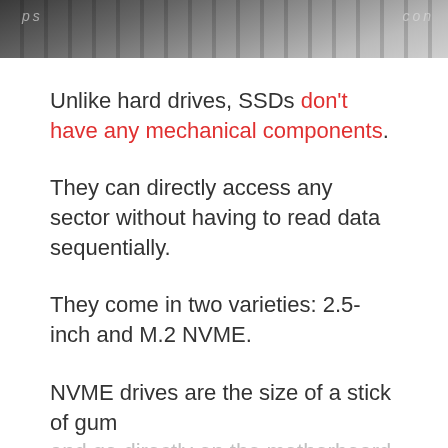[Figure (photo): Close-up photo of keyboard keys, partially cropped at top of page]
Unlike hard drives, SSDs don't have any mechanical components. They can directly access any sector without having to read data sequentially. They come in two varieties: 2.5-inch and M.2 NVME. NVME drives are the size of a stick of gum and go directly on the motherboard.